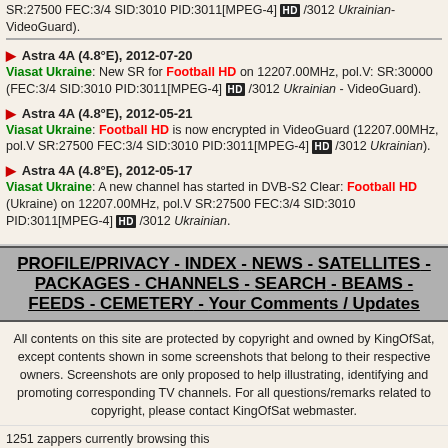SR:27500 FEC:3/4 SID:3010 PID:3011[MPEG-4] HD /3012 Ukrainian-VideoGuard).
Astra 4A (4.8°E), 2012-07-20
Viasat Ukraine: New SR for Football HD on 12207.00MHz, pol.V: SR:30000 (FEC:3/4 SID:3010 PID:3011[MPEG-4] HD /3012 Ukrainian - VideoGuard).
Astra 4A (4.8°E), 2012-05-21
Viasat Ukraine: Football HD is now encrypted in VideoGuard (12207.00MHz, pol.V SR:27500 FEC:3/4 SID:3010 PID:3011[MPEG-4] HD /3012 Ukrainian).
Astra 4A (4.8°E), 2012-05-17
Viasat Ukraine: A new channel has started in DVB-S2 Clear: Football HD (Ukraine) on 12207.00MHz, pol.V SR:27500 FEC:3/4 SID:3010 PID:3011[MPEG-4] HD /3012 Ukrainian.
PROFILE/PRIVACY - INDEX - NEWS - SATELLITES - PACKAGES - CHANNELS - SEARCH - BEAMS - FEEDS - CEMETERY - Your Comments / Updates
All contents on this site are protected by copyright and owned by KingOfSat, except contents shown in some screenshots that belong to their respective owners. Screenshots are only proposed to help illustrating, identifying and promoting corresponding TV channels. For all questions/remarks related to copyright, please contact KingOfSat webmaster.
1251 zappers currently browsing this site.
Copyright KingOfSat 2022